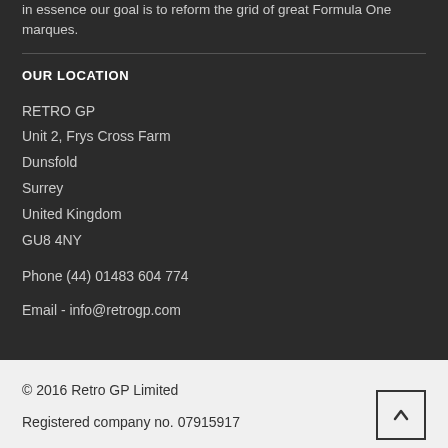in essence our goal is to reform the grid of great Formula One marques.
OUR LOCATION
RETRO GP
Unit 2, Frys Cross Farm
Dunsfold
Surrey
United Kingdom
GU8 4NY
Phone (44) 01483 604 774
Email - info@retrogp.com
© 2016 Retro GP Limited
Registered company no. 07915917